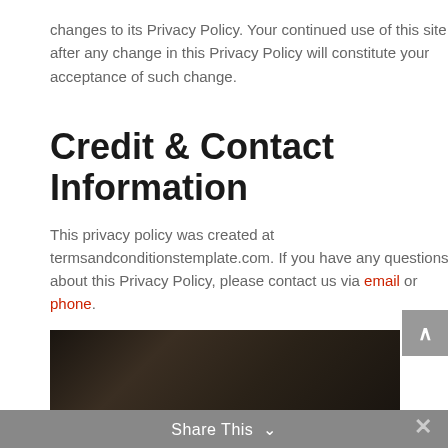changes to its Privacy Policy. Your continued use of this site after any change in this Privacy Policy will constitute your acceptance of such change.
Credit & Contact Information
This privacy policy was created at termsandconditionstemplate.com. If you have any questions about this Privacy Policy, please contact us via email or phone.
[Figure (photo): Dark textured background image at the bottom of the page]
Share This ∨  ✕